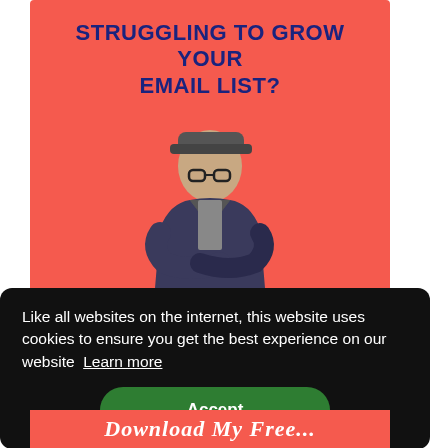[Figure (illustration): Red/coral background banner showing a young man wearing a cap and glasses, arms crossed, standing behind several stacked books labeled 'FAST TRACK GUIDE'. Bold blue uppercase text at top reads 'STRUGGLING TO GROW YOUR EMAIL LIST?']
STRUGGLING TO GROW YOUR EMAIL LIST?
Like all websites on the internet, this website uses cookies to ensure you get the best experience on our website  Learn more
Accept
Download My Free...